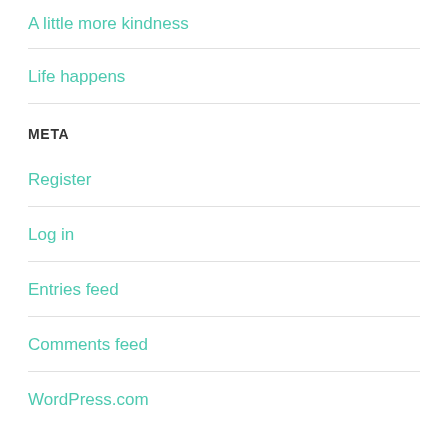A little more kindness
Life happens
META
Register
Log in
Entries feed
Comments feed
WordPress.com